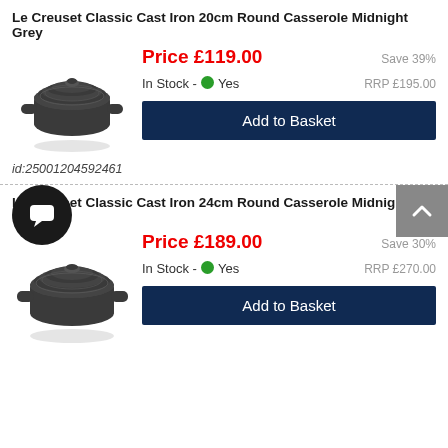Le Creuset Classic Cast Iron 20cm Round Casserole Midnight Grey
Price £119.00
Save 39%
In Stock - Yes
RRP £195.00
Add to Basket
id:25001204592461
Le Creuset Classic Cast Iron 24cm Round Casserole Midnight Grey
Price £189.00
Save 30%
In Stock - Yes
RRP £270.00
Add to Basket